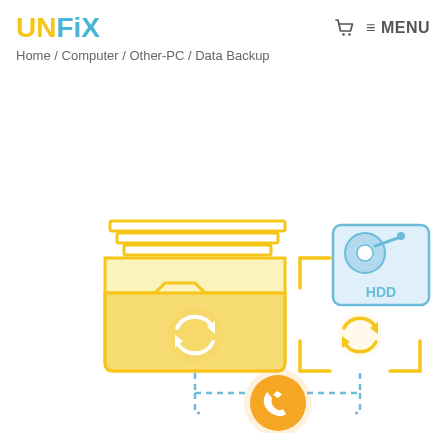UNFiX
Home / Computer / Other-PC / Data Backup
[Figure (illustration): Data backup service illustration showing a yellow folder with stacked documents and a sync/refresh icon on the left, connected via blue dashed lines to a yellow open folder frame with an HDD (hard disk drive) icon in blue and a sync/refresh icon on the right, with an orange phone/call button at the bottom center connecting both elements.]